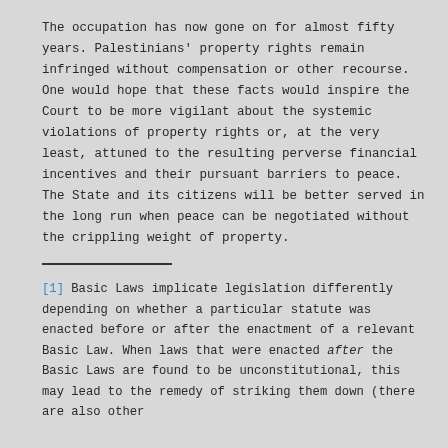The occupation has now gone on for almost fifty years. Palestinians' property rights remain infringed without compensation or other recourse. One would hope that these facts would inspire the Court to be more vigilant about the systemic violations of property rights or, at the very least, attuned to the resulting perverse financial incentives and their pursuant barriers to peace. The State and its citizens will be better served in the long run when peace can be negotiated without the crippling weight of property.
[1] Basic Laws implicate legislation differently depending on whether a particular statute was enacted before or after the enactment of a relevant Basic Law. When laws that were enacted after the Basic Laws are found to be unconstitutional, this may lead to the remedy of striking them down (there are also other